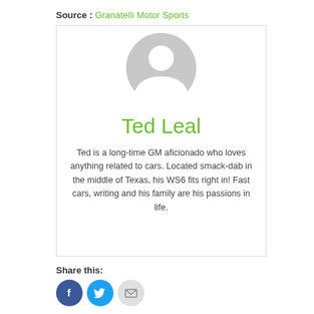Source : Granatelli Motor Sports
[Figure (illustration): Generic user avatar placeholder — grey silhouette of a person (head and shoulders) on white background inside a bordered card]
Ted Leal
Ted is a long-time GM aficionado who loves anything related to cars. Located smack-dab in the middle of Texas, his WS6 fits right in! Fast cars, writing and his family are his passions in life.
Share this:
[Figure (illustration): Three social share buttons: Facebook (blue circle with f icon), Twitter (blue circle with bird icon), Email (grey circle with envelope icon)]